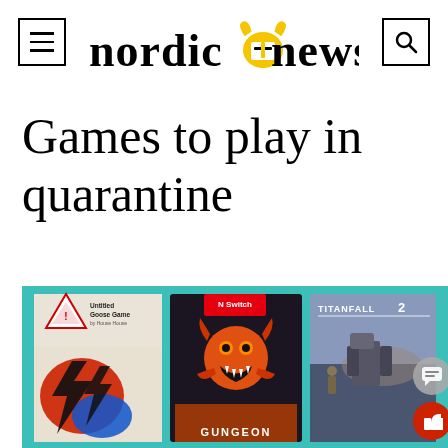Nordic News
Games to play in quarantine
[Figure (photo): Article header image showing three video game covers (Untitled Goose Game, Enter the Gungeon, Titanfall 2) displayed against a teal background, with social media buttons (comment and like) visible on the right edge.]